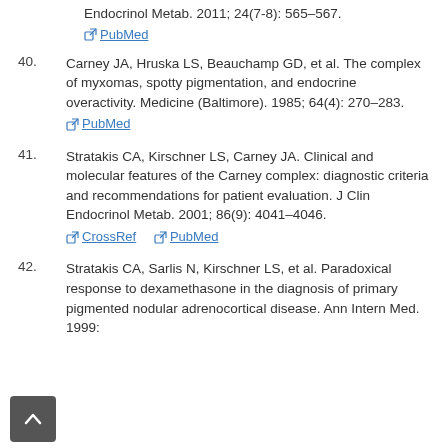Endocrinol Metab. 2011; 24(7-8): 565–567.
PubMed
40. Carney JA, Hruska LS, Beauchamp GD, et al. The complex of myxomas, spotty pigmentation, and endocrine overactivity. Medicine (Baltimore). 1985; 64(4): 270–283. PubMed
41. Stratakis CA, Kirschner LS, Carney JA. Clinical and molecular features of the Carney complex: diagnostic criteria and recommendations for patient evaluation. J Clin Endocrinol Metab. 2001; 86(9): 4041–4046. CrossRef PubMed
42. Stratakis CA, Sarlis N, Kirschner LS, et al. Paradoxical response to dexamethasone in the diagnosis of primary pigmented nodular adrenocortical disease. Ann Intern Med. 1999: